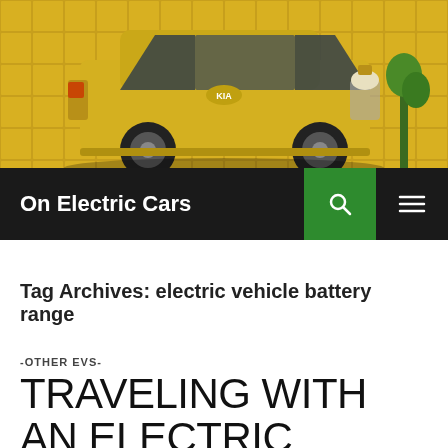[Figure (photo): Yellow Kia Soul electric vehicle photographed against a golden geometric background]
On Electric Cars
Tag Archives: electric vehicle battery range
-OTHER EVS-
TRAVELING WITH AN ELECTRIC VEHICLE: MAKING A COST-EFFECTIVE AND EFFICIENT TRIP